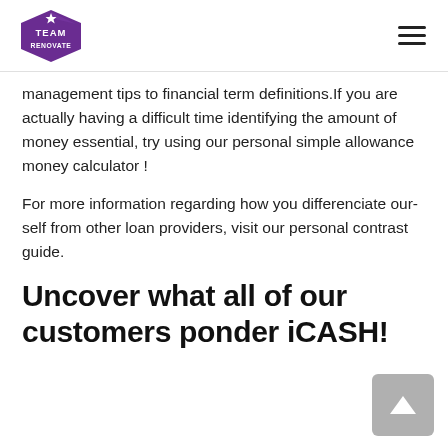Team Renovate [logo] [hamburger menu]
management tips to financial term definitions.If you are actually having a difficult time identifying the amount of money essential, try using our personal simple allowance money calculator !
For more information regarding how you differenciate our-self from other loan providers, visit our personal contrast guide.
Uncover what all of our customers ponder iCASH!